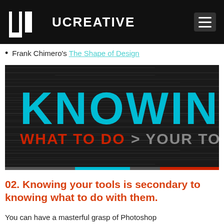UCREATIVE
Frank Chimero's The Shape of Design
[Figure (illustration): Dark background banner image with horizontal motion-blur lines. Large cyan text reads 'KNOWING'. Below that in red: 'WHAT TO DO' and in grey: '> YOUR TOOLS'. A thin multi-color bar (grey, cyan, red) runs along the bottom edge.]
02. Knowing your tools is secondary to knowing what to do with them.
You can have a masterful grasp of Photoshop